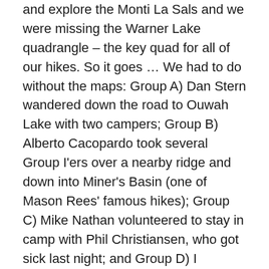and explore the Monti La Sals and we were missing the Warner Lake quadrangle – the key quad for all of our hikes. So it goes … We had to do without the maps: Group A) Dan Stern wandered down the road to Ouwah Lake with two campers; Group B) Alberto Cacopardo took several Group I'ers over a nearby ridge and down into Miner's Basin (one of Mason Rees' famous hikes); Group C) Mike Nathan volunteered to stay in camp with Phil Christiansen, who got sick last night; and Group D) I became the leader in Mike's place of a rigorous hike up to Burro Pass and then up Mt. Peale, the nearby 12,721 foot mountain.
The Monti La Sal Mountains are truly beautiful and they deserve more time and creativity than we had. They match the ruggedness of the lower San Juan Mountains around Mayday, Colorado, even if they lack the altitude.